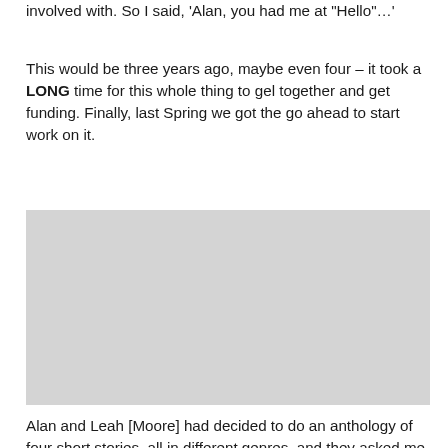involved with. So I said, 'Alan, you had me at "Hello"…'
This would be three years ago, maybe even four – it took a LONG time for this whole thing to gel together and get funding. Finally, last Spring we got the go ahead to start work on it.
[Figure (photo): Large gray placeholder image block]
Alan and Leah [Moore] had decided to do an anthology of four short stories, all in different genres, and they asked me